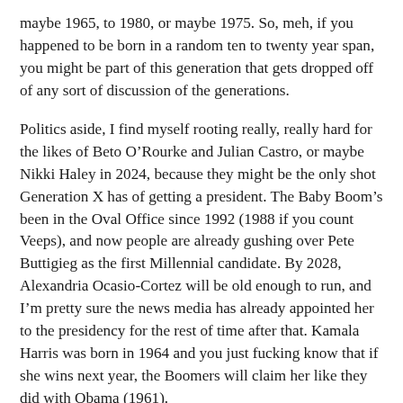maybe 1965, to 1980, or maybe 1975. So, meh, if you happened to be born in a random ten to twenty year span, you might be part of this generation that gets dropped off of any sort of discussion of the generations.
Politics aside, I find myself rooting really, really hard for the likes of Beto O’Rourke and Julian Castro, or maybe Nikki Haley in 2024, because they might be the only shot Generation X has of getting a president. The Baby Boom’s been in the Oval Office since 1992 (1988 if you count Veeps), and now people are already gushing over Pete Buttigieg as the first Millennial candidate. By 2028, Alexandria Ocasio-Cortez will be old enough to run, and I’m pretty sure the news media has already appointed her to the presidency for the rest of time after that. Kamala Harris was born in 1964 and you just fucking know that if she wins next year, the Boomers will claim her like they did with Obama (1961).